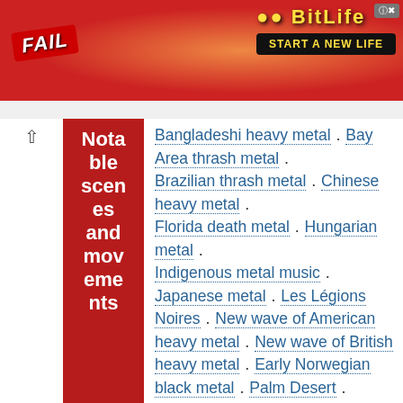[Figure (screenshot): Advertisement banner for BitLife game showing 'FAIL' text and 'START A NEW LIFE' tagline on red/orange background]
Notable scenes and movements: Bangladeshi heavy metal . Bay Area thrash metal . Brazilian thrash metal . Chinese heavy metal . Florida death metal . Hungarian metal . Indigenous metal music . Japanese metal . Les Légions Noires . New wave of American heavy metal . New wave of British heavy metal . Early Norwegian black metal . Palm Desert . Swedish death metal . Teutonic thrash metal . Ukrainian metal .
Culture: Bands . Environmentalism . Fashion . Festivals . Headbanging . Heavy metal subculture . Poseur . Umlaut .